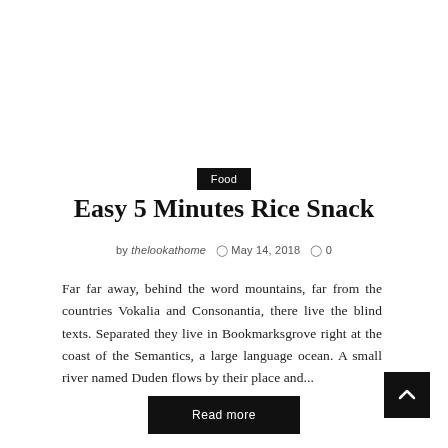Food
Easy 5 Minutes Rice Snack
by thelookathome   May 14, 2018   0
Far far away, behind the word mountains, far from the countries Vokalia and Consonantia, there live the blind texts. Separated they live in Bookmarksgrove right at the coast of the Semantics, a large language ocean. A small river named Duden flows by their place and...
Read more